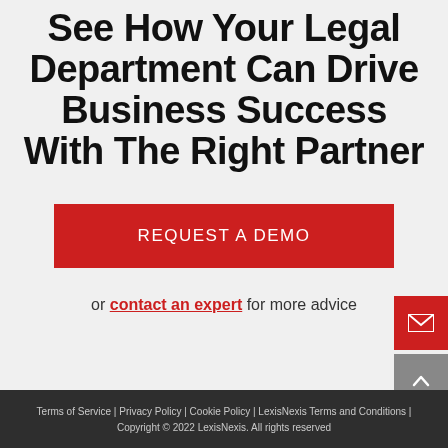See How Your Legal Department Can Drive Business Success With The Right Partner
REQUEST A DEMO
or contact an expert for more advice
Terms of Service | Privacy Policy | Cookie Policy | LexisNexis Terms and Conditions | Copyright © 2022 LexisNexis. All rights reserved